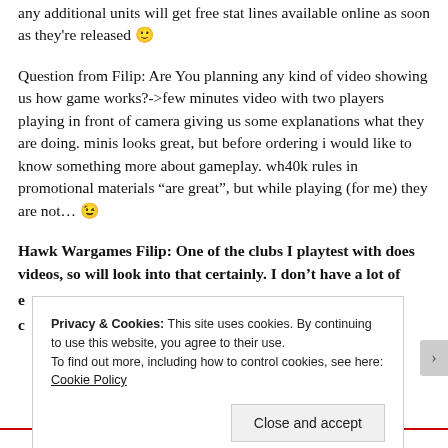any additional units will get free stat lines available online as soon as they're released 🙂
Question from Filip: Are You planning any kind of video showing us how game works?->few minutes video with two players playing in front of camera giving us some explanations what they are doing. minis looks great, but before ordering i would like to know something more about gameplay. wh40k rules in promotional materials "are great", but while playing (for me) they are not… 😉
Hawk Wargames Filip: One of the clubs I playtest with does videos, so will look into that certainly. I don't have a lot of
Privacy & Cookies: This site uses cookies. By continuing to use this website, you agree to their use.
To find out more, including how to control cookies, see here: Cookie Policy
Close and accept